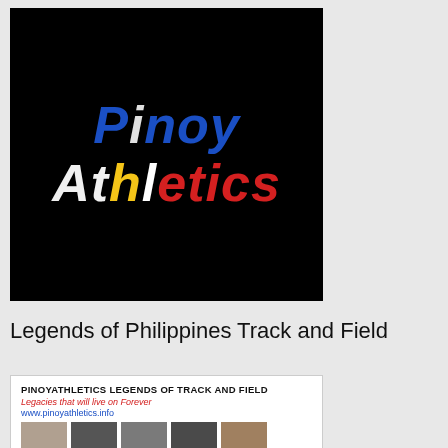[Figure (logo): Pinoy Athletics logo on black background with colorful lettering styled after the Philippine flag colors]
Legends of Philippines Track and Field
[Figure (infographic): PinoyAthletics Legends of Track and Field banner with tagline 'Legacies that will live on Forever', URL www.pinoyathletics.info, and thumbnail images of athletes]